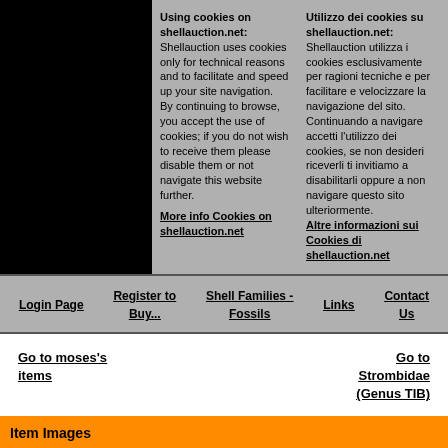Using cookies on shellauction.net: Shellauction uses cookies only for technical reasons and to facilitate and speed up your site navigation. By continuing to browse, you accept the use of cookies; if you do not wish to receive them please disable them or not navigate this website further. More info Cookies on shellauction.net
Utilizzo dei cookies su shellauction.net: Shellauction utilizza i cookies esclusivamente per ragioni tecniche e per facilitare e velocizzare la navigazione del sito. Continuando a navigare accetti l'utilizzo dei cookies, se non desideri riceverli ti invitiamo a disabilitarli oppure a non navigare questo sito ulteriormente. Altre informazioni sui Cookies di shellauction.net
Login Page
Register to Buy...
Shell Families - Fossils
Links
Contact Us
Go to moses's items
Go to Strombidae (Genus TIB)
Item Images